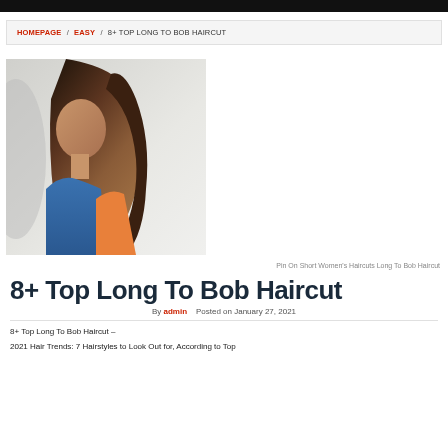HOMEPAGE / EASY / 8+ TOP LONG TO BOB HAIRCUT
[Figure (photo): Side profile of a woman with a long bob haircut, showing smooth straight brown hair, wearing a blue top, photographed against a light background with shadow on left.]
Pin On Short Women's Haircuts Long To Bob Haircut
8+ Top Long To Bob Haircut
By admin   Posted on January 27, 2021
8+ Top Long To Bob Haircut –
2021 Hair Trends: 7 Hairstyles to Look Out for, According to Top